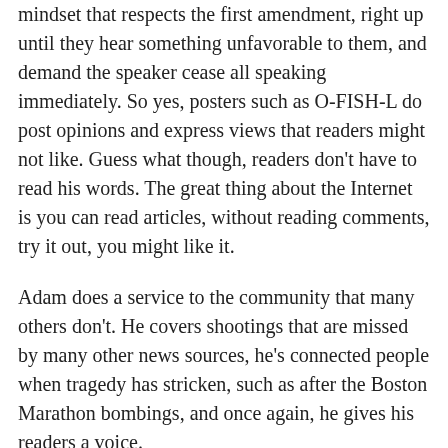mindset that respects the first amendment, right up until they hear something unfavorable to them, and demand the speaker cease all speaking immediately. So yes, posters such as O-FISH-L do post opinions and express views that readers might not like. Guess what though, readers don't have to read his words. The great thing about the Internet is you can read articles, without reading comments, try it out, you might like it.
Adam does a service to the community that many others don't. He covers shootings that are missed by many other news sources, he's connected people when tragedy has stricken, such as after the Boston Marathon bombings, and once again, he gives his readers a voice.
[Figure (illustration): Thumbs up emoji icon in orange/yellow color]
Voting
closed
5